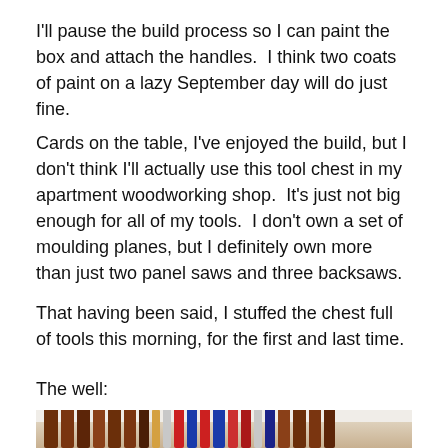I'll pause the build process so I can paint the box and attach the handles.  I think two coats of paint on a lazy September day will do just fine.
Cards on the table, I've enjoyed the build, but I don't think I'll actually use this tool chest in my apartment woodworking shop.  It's just not big enough for all of my tools.  I don't own a set of moulding planes, but I definitely own more than just two panel saws and three backsaws.
That having been said, I stuffed the chest full of tools this morning, for the first and last time.
The well:
[Figure (photo): A wooden tool chest well (box interior) filled with various tool handles — chisels, screwdrivers, and other hand tools — standing upright side by side, photographed from above.]